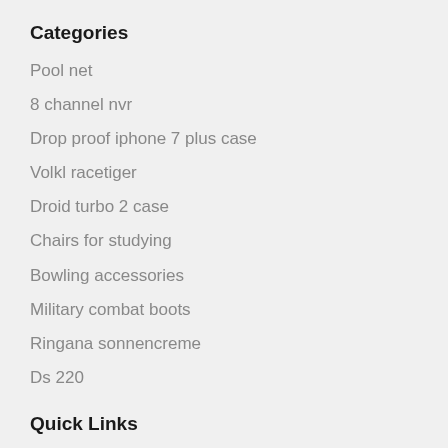Categories
Pool net
8 channel nvr
Drop proof iphone 7 plus case
Volkl racetiger
Droid turbo 2 case
Chairs for studying
Bowling accessories
Military combat boots
Ringana sonnencreme
Ds 220
Quick Links
Privacy Policy